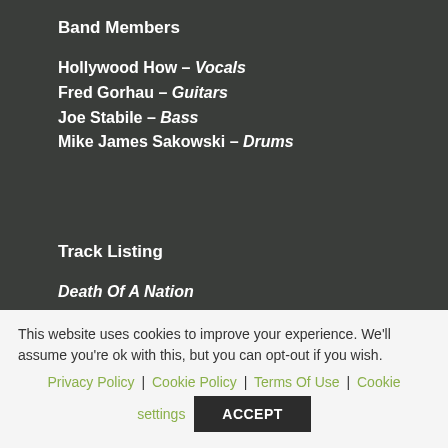Band Members
Hollywood How – Vocals
Fred Gorhau – Guitars
Joe Stabile – Bass
Mike James Sakowski – Drums
Track Listing
Death Of A Nation
Like It Or Not
This website uses cookies to improve your experience. We'll assume you're ok with this, but you can opt-out if you wish.
Privacy Policy | Cookie Policy | Terms Of Use | Cookie settings  ACCEPT